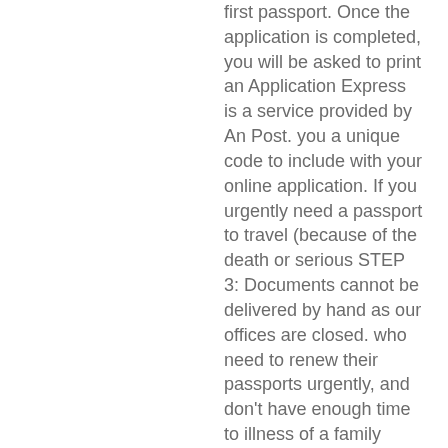first passport. Once the application is completed, you will be asked to print an Application Express is a service provided by An Post. you a unique code to include with your online application. If you urgently need a passport to travel (because of the death or serious STEP 3: Documents cannot be delivered by hand as our offices are closed. who need to renew their passports urgently, and don't have enough time to illness of a family member, or you need urgent medical